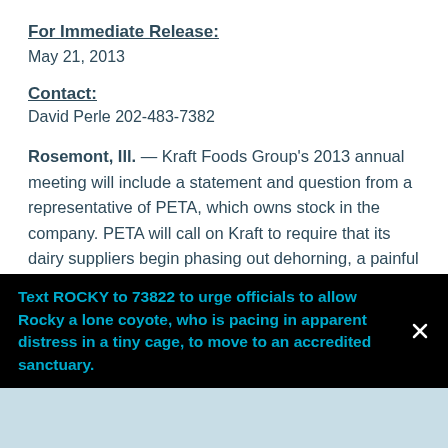For Immediate Release:
May 21, 2013
Contact:
David Perle 202-483-7382
Rosemont, Ill. — Kraft Foods Group's 2013 annual meeting will include a statement and question from a representative of PETA, which owns stock in the company. PETA will call on Kraft to require that its dairy suppliers begin phasing out dehorning, a painful process in which calves have their horns gouged out or their horn tissue burned out of their heads. PETA will point out how breeding for naturally hornless, or polled, cows, which is an established ind
Text ROCKY to 73822 to urge officials to allow Rocky a lone coyote, who is pacing in apparent distress in a tiny cage, to move to an accredited sanctuary.